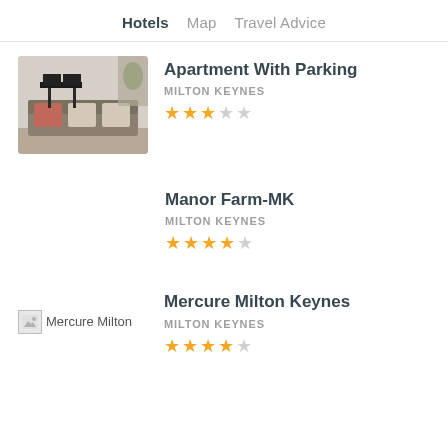Hotels | Map | Travel Advice
[Figure (photo): Interior photo of a living room with sofa and cushions]
Apartment With Parking
MILTON KEYNES
★★★☆☆ (3.5 stars)
Manor Farm-MK
MILTON KEYNES
★★★★☆ (4 stars)
[Figure (photo): Broken/loading image placeholder for Mercure Milton Keynes]
Mercure Milton Keynes
MILTON KEYNES
★★★★☆ (4 stars)